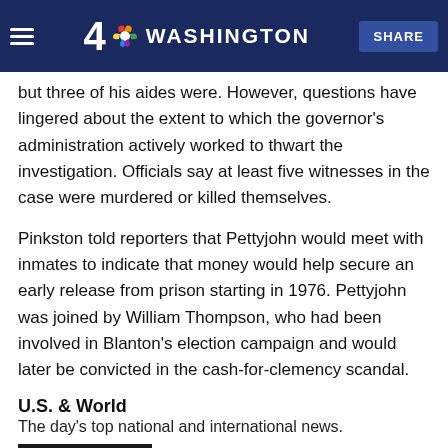4 NBC WASHINGTON | SHARE
but three of his aides were. However, questions have lingered about the extent to which the governor's administration actively worked to thwart the investigation. Officials say at least five witnesses in the case were murdered or killed themselves.
Pinkston told reporters that Pettyjohn would meet with inmates to indicate that money would help secure an early release from prison starting in 1976. Pettyjohn was joined by William Thompson, who had been involved in Blanton's election campaign and would later be convicted in the cash-for-clemency scandal.
U.S. & World
The day's top national and international news.
[Figure (photo): Photo thumbnail showing a person speaking, with partial text overlay reading 'ST POLIC']
AUG 27
Judge Plans to Appoint Special Master in